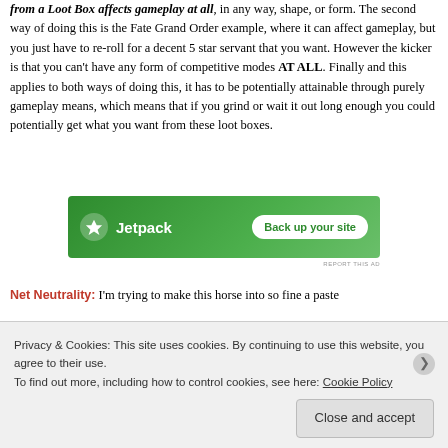from a Loot Box affects gameplay at all, in any way, shape, or form. The second way of doing this is the Fate Grand Order example, where it can affect gameplay, but you just have to re-roll for a decent 5 star servant that you want. However the kicker is that you can't have any form of competitive modes AT ALL. Finally and this applies to both ways of doing this, it has to be potentially attainable through purely gameplay means, which means that if you grind or wait it out long enough you could potentially get what you want from these loot boxes.
[Figure (screenshot): Jetpack advertisement banner with green background showing Jetpack logo and 'Back up your site' button]
REPORT THIS AD
Net Neutrality: I'm trying to make this horse into so fine a paste
Privacy & Cookies: This site uses cookies. By continuing to use this website, you agree to their use.
To find out more, including how to control cookies, see here: Cookie Policy
Close and accept